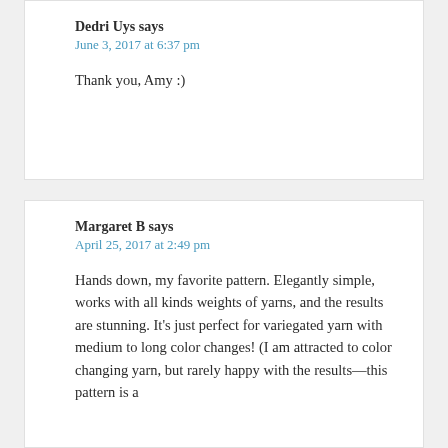Dedri Uys says
June 3, 2017 at 6:37 pm
Thank you, Amy :)
Margaret B says
April 25, 2017 at 2:49 pm
Hands down, my favorite pattern. Elegantly simple, works with all kinds weights of yarns, and the results are stunning. It’s just perfect for variegated yarn with medium to long color changes! (I am attracted to color changing yarn, but rarely happy with the results—this pattern is a